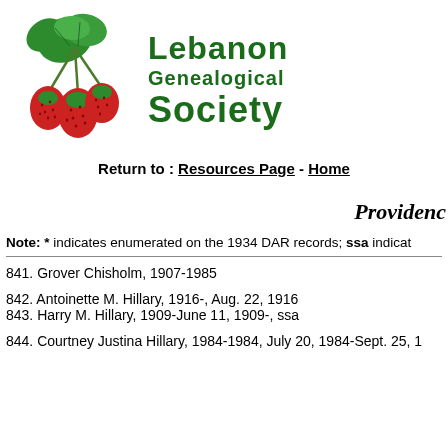[Figure (logo): Strawberry plant illustration with red strawberries and green leaves, logo of Lebanon Genealogical Society]
Lebanon Genealogical Society
Return to : Resources Page - Home
Providen...
Note: * indicates enumerated on the 1934 DAR records; ssa indicat...
841. Grover Chisholm, 1907-1985
842. Antoinette M. Hillary, 1916-, Aug. 22, 1916
843. Harry M. Hillary, 1909-June 11, 1909-, ssa
844. Courtney Justina Hillary, 1984-1984, July 20, 1984-Sept. 25, 1...